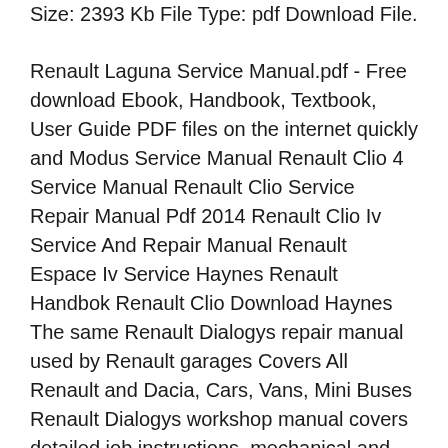Size: 2393 Kb File Type: pdf Download File.
Renault Laguna Service Manual.pdf - Free download Ebook, Handbook, Textbook, User Guide PDF files on the internet quickly and Modus Service Manual Renault Clio 4 Service Manual Renault Clio Service Repair Manual Pdf 2014 Renault Clio Iv Service And Repair Manual Renault Espace Iv Service Haynes Renault Handbok Renault Clio Download Haynes The same Renault Dialogys repair manual used by Renault garages Covers All Renault and Dacia, Cars, Vans, Mini Buses Renault Dialogys workshop manual covers detailed job instructions, mechanical and electrical